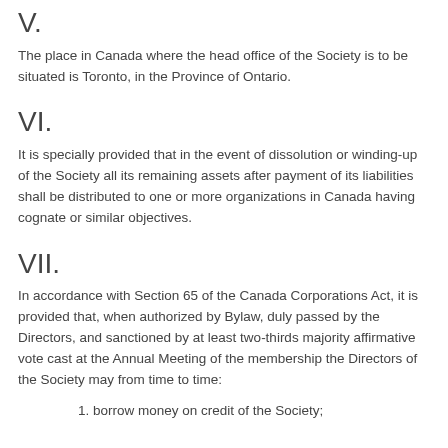V.
The place in Canada where the head office of the Society is to be situated is Toronto, in the Province of Ontario.
VI.
It is specially provided that in the event of dissolution or winding-up of the Society all its remaining assets after payment of its liabilities shall be distributed to one or more organizations in Canada having cognate or similar objectives.
VII.
In accordance with Section 65 of the Canada Corporations Act, it is provided that, when authorized by Bylaw, duly passed by the Directors, and sanctioned by at least two-thirds majority affirmative vote cast at the Annual Meeting of the membership the Directors of the Society may from time to time:
1. borrow money on credit of the Society;